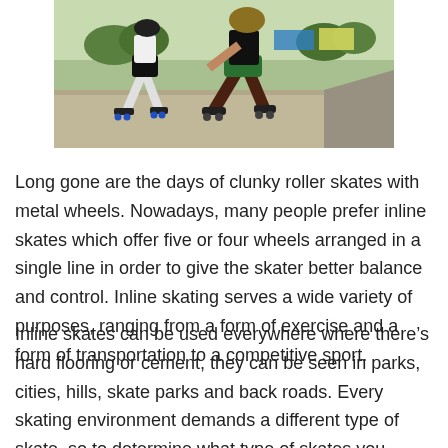[Figure (photo): People inline skating/rollerblading on a paved outdoor course, racing competitively. Skaters in athletic gear, trees and tents visible in background.]
Long gone are the days of clunky roller skates with metal wheels. Nowadays, many people prefer inline skates which offer five or four wheels arranged in a single line in order to give the skater better balance and control. Inline skating serves a wide variety of purposes, ranging from a form of exercise and a form of transportation to a competitive sport.
Inline skates can be used everywhere where there’s hard flooring or cement, they can be seen in parks, cities, hills, skate parks and back roads. Every skating environment demands a different type of skate, so to determine what type of skates you should buy, identify your primary motivation for